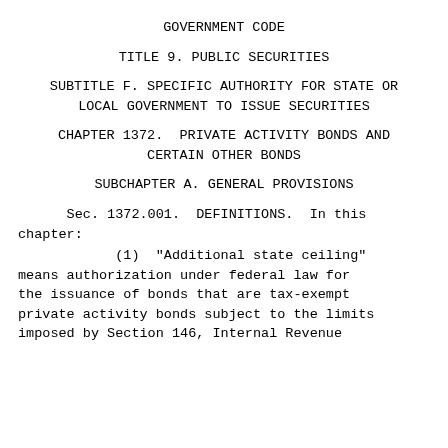GOVERNMENT CODE
TITLE 9. PUBLIC SECURITIES
SUBTITLE F. SPECIFIC AUTHORITY FOR STATE OR LOCAL GOVERNMENT TO ISSUE SECURITIES
CHAPTER 1372.  PRIVATE ACTIVITY BONDS AND CERTAIN OTHER BONDS
SUBCHAPTER A. GENERAL PROVISIONS
Sec. 1372.001.  DEFINITIONS.  In this chapter:
(1)  "Additional state ceiling" means authorization under federal law for the issuance of bonds that are tax-exempt private activity bonds subject to the limits imposed by Section 146, Internal Revenue